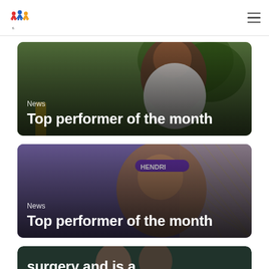Navigation header with logo and hamburger menu
[Figure (photo): Card 1: Photo of a smiling man in a white polo shirt outdoors, overlaid with text 'News' and 'Top performer of the month']
[Figure (photo): Card 2: Photo of a smiling man wearing a purple headband outdoors, overlaid with text 'News' and 'Top performer of the month']
[Figure (photo): Card 3 (partial): Dark background card partially visible at bottom with text 'surgery and is a']